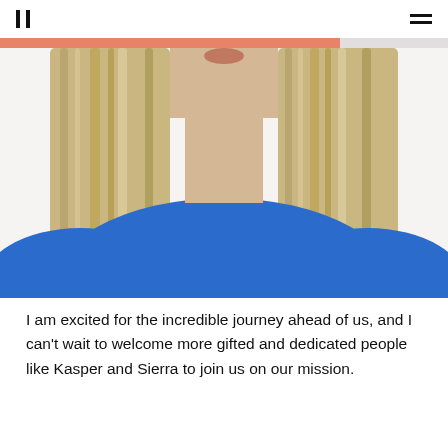|| ≡
[Figure (photo): Cropped photo of a woman with long blonde hair wearing a bright blue sweater, photographed from the chin to the waist against a white background. A salmon/coral colored progress bar overlays the top portion of the image.]
I am excited for the incredible journey ahead of us, and I can't wait to welcome more gifted and dedicated people like Kasper and Sierra to join us on our mission.